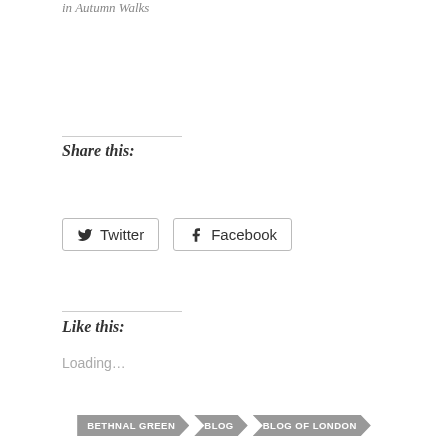in  Autumn Walks
Share this:
Twitter
Facebook
Like this:
Loading...
BETHNAL GREEN
BLOG
BLOG OF LONDON
BLOGGER
BLOGGERS
HACKNEY
HISTORY OF LONDON
LIFESTYLE LONDON
LONDON
LONDON BLOG
LONDON BLOGS
LONDON CITY
LONDON FIELDS